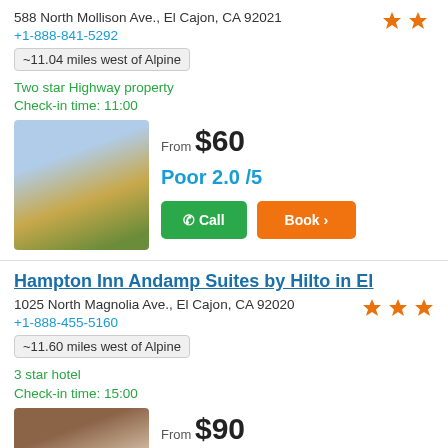588 North Mollison Ave., El Cajon, CA 92021
+1-888-841-5292
~11.04 miles west of Alpine
Two star Highway property
Check-in time: 11:00
[Figure (photo): Hotel exterior photo showing a yellow building with columns]
From $60
Poor 2.0 /5
Call
Book >
Hampton Inn Andamp Suites by Hilto in El
1025 North Magnolia Ave., El Cajon, CA 92020
+1-888-455-5160
~11.60 miles west of Alpine
3 star hotel
Check-in time: 15:00
[Figure (photo): Hotel interior photo showing bed with white linens]
From $90
Very Good 4.0 /5